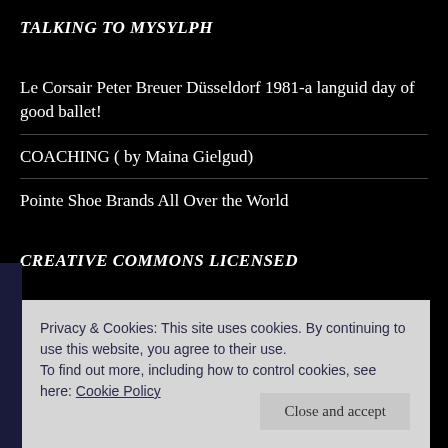TALKING TO MYSYLPH
Le Corsair Peter Breuer Düsseldorf 1981-a languid day of good ballet!
COACHING ( by Maina Gielgud)
Pointe Shoe Brands All Over the World
CREATIVE COMMONS LICENSED
Privacy & Cookies: This site uses cookies. By continuing to use this website, you agree to their use.
To find out more, including how to control cookies, see here: Cookie Policy